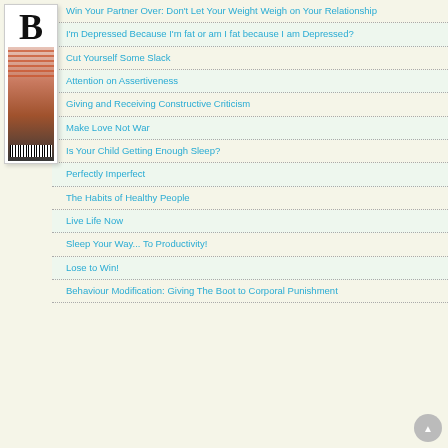[Figure (logo): Bold 'B' logo with magazine cover image and barcode]
Win Your Partner Over: Don't Let Your Weight Weigh on Your Relationship
I'm Depressed Because I'm fat or am I fat because I am Depressed?
Cut Yourself Some Slack
Attention on Assertiveness
Giving and Receiving Constructive Criticism
Make Love Not War
Is Your Child Getting Enough Sleep?
Perfectly Imperfect
The Habits of Healthy People
Live Life Now
Sleep Your Way... To Productivity!
Lose to Win!
Behaviour Modification: Giving The Boot to Corporal Punishment